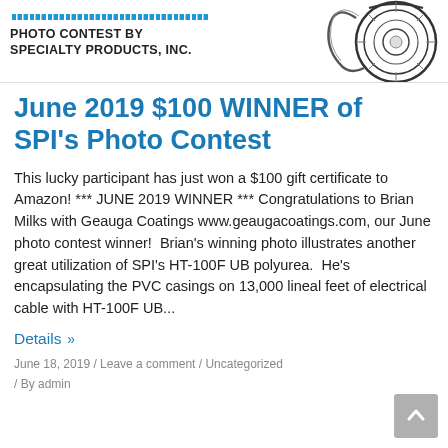[Figure (logo): Photo contest banner with ruler graphic, 'PHOTO CONTEST BY SPECIALTY PRODUCTS, INC.' text, and a detailed ink-style camera illustration on the right]
June 2019 $100 WINNER of SPI's Photo Contest
This lucky participant has just won a $100 gift certificate to Amazon! *** JUNE 2019 WINNER *** Congratulations to Brian Milks with Geauga Coatings www.geaugacoatings.com, our June photo contest winner!  Brian's winning photo illustrates another great utilization of SPI's HT-100F UB polyurea.  He's encapsulating the PVC casings on 13,000 lineal feet of electrical cable with HT-100F UB...
Details »
June 18, 2019 / Leave a comment / Uncategorized / By admin